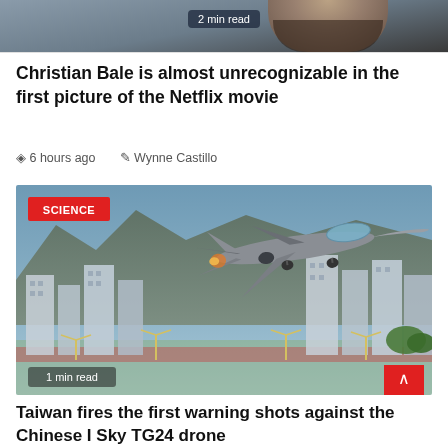[Figure (photo): Cropped photo of a person (partially visible face/beard) with a '2 min read' badge overlay]
Christian Bale is almost unrecognizable in the first picture of the Netflix movie
6 hours ago   Wynne Castillo
[Figure (photo): Fighter jet (F-16 style) in flight over an urban area with buildings and mountains in the background. SCIENCE badge top-left, 1 min read badge bottom-left, red scroll-to-top button bottom-right.]
Taiwan fires the first warning shots against the Chinese I Sky TG24 drone